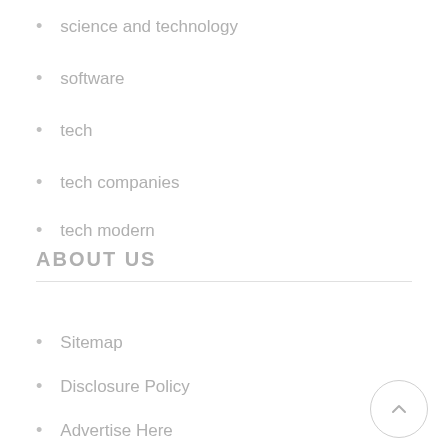science and technology
software
tech
tech companies
tech modern
tech news
Tech's
ABOUT US
Sitemap
Disclosure Policy
Advertise Here